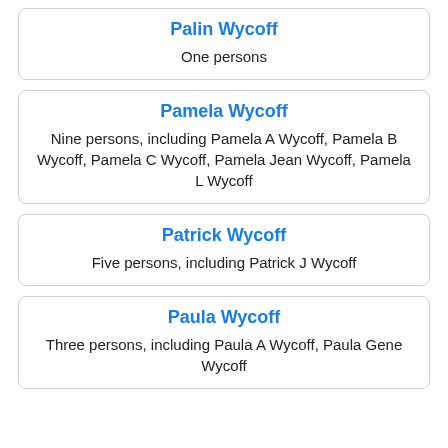Palin Wycoff
One persons
Pamela Wycoff
Nine persons, including Pamela A Wycoff, Pamela B Wycoff, Pamela C Wycoff, Pamela Jean Wycoff, Pamela L Wycoff
Patrick Wycoff
Five persons, including Patrick J Wycoff
Paula Wycoff
Three persons, including Paula A Wycoff, Paula Gene Wycoff